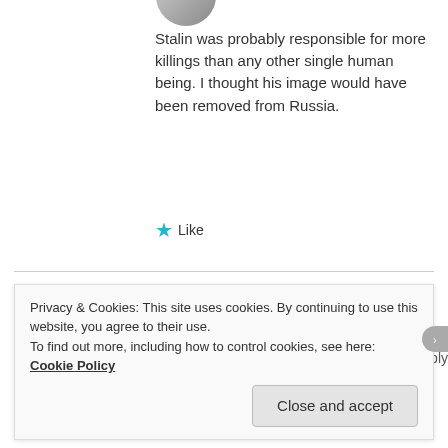[Figure (photo): Partial avatar image at top, cropped circle]
Stalin was probably responsible for more killings than any other single human being. I thought his image would have been removed from Russia.
★ Like
[Figure (photo): Circular profile photo of Victor Tribunsky wearing a white captain's hat and red shirt]
Victor Tribunsky
February 19, 2013 at 3:12 am  Reply
Privacy & Cookies: This site uses cookies. By continuing to use this website, you agree to their use.
To find out more, including how to control cookies, see here: Cookie Policy
Close and accept